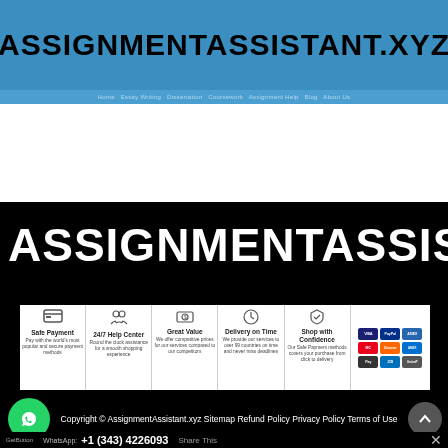ASSIGNMENTASSISTANT.XYZ
[Figure (screenshot): Website screenshot showing AssignmentAssistant.xyz with blue header, large white gap, black section with bold site name, features bar with Safe Payment/24-7 Help Center/Great Value/Delivery on Time/Shop with Confidence icons, and footer with WhatsApp button, copyright info, and phone number.]
ASSIGNMENTASSISTANT.X
Safe Payment
Pay with the world's most popular and secure payment methods
24/7 Help Center
Round the clock assistance for a smooth shopping experience
Great Value
We offer competitive prices for our services compared to our competitors
Delivery on Time
We provide our services to over 99 countries on time and never miss deadlines
Shop with Confidence
Our Safe Payment methods covers your purchase from click to delivery
Copyright © AssignmentAssistant.xyz Sitemap Refund Policy Privacy Policy Terms of Use
WhatsApp: +1 (343) 4226093
Share This